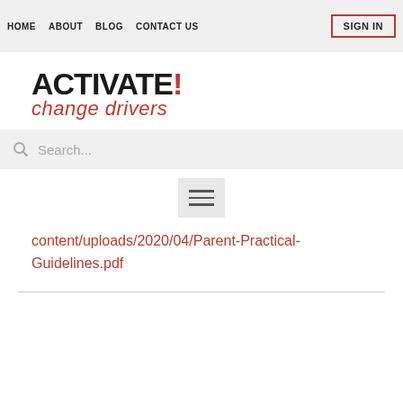HOME  ABOUT  BLOG  CONTACT US
[Figure (logo): Activate! change drivers logo with bold black ACTIVATE! text and red cursive 'change drivers' subtitle]
[Figure (screenshot): Search bar with magnifying glass icon and placeholder text 'Search...']
[Figure (screenshot): Hamburger menu icon (three horizontal lines) on grey background]
content/uploads/2020/04/Parent-Practical-Guidelines.pdf